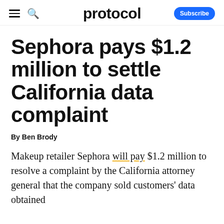protocol
Sephora pays $1.2 million to settle California data complaint
By Ben Brody
Makeup retailer Sephora will pay $1.2 million to resolve a complaint by the California attorney general that the company sold customers' data obtained